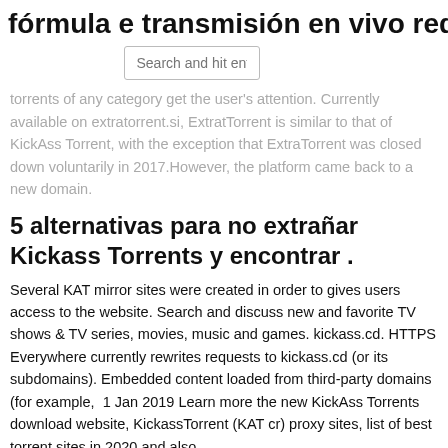fórmula e transmisión en vivo reddit
Search and hit enter..
torrents of any category get the user's attention. Currently available on extratorrent.si, ExtratTorrent is similar to that of KickAss Torrent, with the exception that ExtraTorrent was closed down voluntarily in 2017.However, the platform came back to a new domain.
5 alternativas para no extrañar Kickass Torrents y encontrar .
Several KAT mirror sites were created in order to gives users access to the website. Search and discuss new and favorite TV shows & TV series, movies, music and games. kickass.cd. HTTPS Everywhere currently rewrites requests to kickass.cd (or its subdomains). Embedded content loaded from third-party domains (for example,  1 Jan 2019 Learn more the new KickAss Torrents download website, KickassTorrent (KAT cr) proxy sites, list of best torrent sites in 2020 and also.